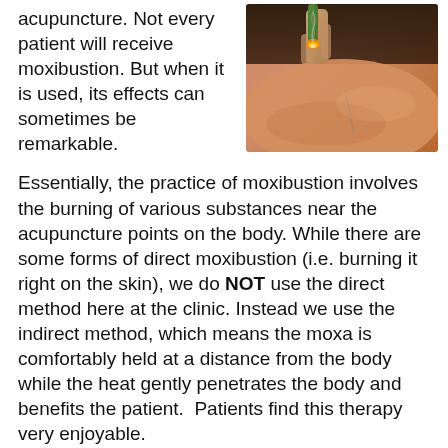acupuncture. Not every patient will receive moxibustion. But when it is used, its effects can sometimes be remarkable.
[Figure (photo): Close-up photo of a person receiving moxibustion treatment near acupuncture points, with a burning moxa stick held near the skin.]
Essentially, the practice of moxibustion involves the burning of various substances near the acupuncture points on the body. While there are some forms of direct moxibustion (i.e. burning it right on the skin), we do NOT use the direct method here at the clinic. Instead we use the indirect method, which means the moxa is comfortably held at a distance from the body while the heat gently penetrates the body and benefits the patient.  Patients find this therapy very enjoyable.
The most common substance used for moxibustion is artemisia vulgaris, an herb. Wen it is ground up and prepared for use in the clinic, it can resemble brown cotton, or ground up